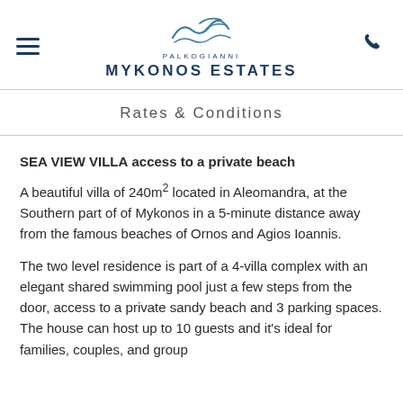[Figure (logo): Palkogianni Mykonos Estates logo with wave/bird graphic above the text, hamburger menu icon on the left, phone icon on the right]
Rates & Conditions
SEA VIEW VILLA access to a private beach
A beautiful villa of 240m² located in Aleomandra, at the Southern part of of Mykonos in a 5-minute distance away from the famous beaches of Ornos and Agios Ioannis.
The two level residence is part of a 4-villa complex with an elegant shared swimming pool just a few steps from the door, access to a private sandy beach and 3 parking spaces. The house can host up to 10 guests and it's ideal for families, couples, and group